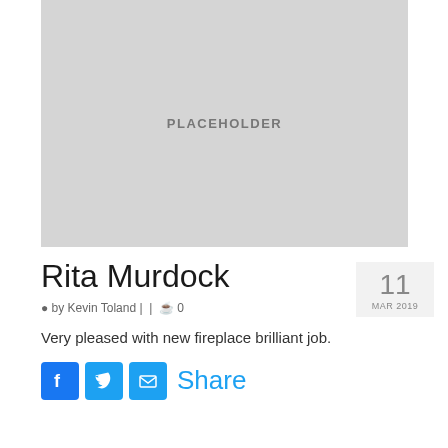[Figure (photo): Placeholder image with grey background and text PLACEHOLDER]
Rita Murdock
11 MAR 2019
by Kevin Toland |  |  0
Very pleased with new fireplace brilliant job.
Share